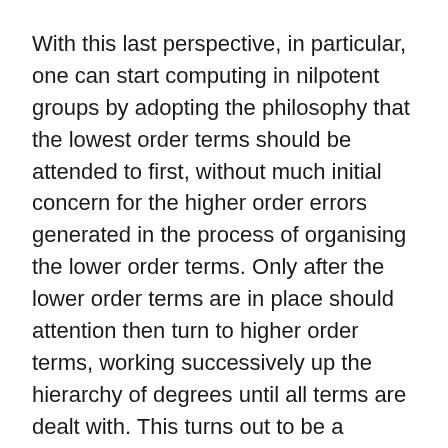With this last perspective, in particular, one can start computing in nilpotent groups by adopting the philosophy that the lowest order terms should be attended to first, without much initial concern for the higher order errors generated in the process of organising the lower order terms. Only after the lower order terms are in place should attention then turn to higher order terms, working successively up the hierarchy of degrees until all terms are dealt with. This turns out to be a relatively straightforward philosophy to implement in many cases (particularly if one is not interested in explicit expressions and constants, being content instead with qualitative expansions of controlled complexity), but the arguments are necessarily recursive in nature and as such can become a bit messy, and require a fair amount of notation to express precisely. So, unfortunately, the arguments here will be somewhat